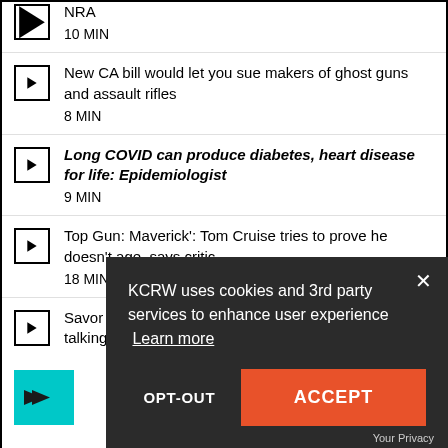NRA
10 MIN
New CA bill would let you sue makers of ghost guns and assault rifles
8 MIN
Long COVID can produce diabetes, heart disease for life: Epidemiologist
9 MIN
Top Gun: Maverick': Tom Cruise tries to prove he doesn't age, says critic
18 MIN
Savor grilled cheeses on Memorial Day. We're not talking about sandwiches
[Figure (screenshot): Teal thumbnail image with arrow icons]
KCRW uses cookies and 3rd party services to enhance user experience  Learn more
OPT-OUT
ACCEPT
Your Privacy